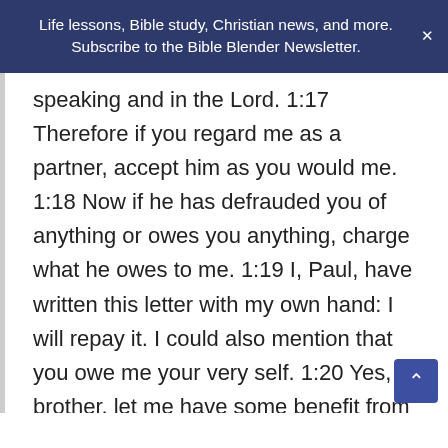Life lessons, Bible study, Christian news, and more. Subscribe to the Bible Blender Newsletter.
speaking and in the Lord. 1:17 Therefore if you regard me as a partner, accept him as you would me. 1:18 Now if he has defrauded you of anything or owes you anything, charge what he owes to me. 1:19 I, Paul, have written this letter with my own hand: I will repay it. I could also mention that you owe me your very self. 1:20 Yes, brother, let me have some benefit from you in the Lord. Refresh my heart in Christ. 1:21 Since I was confident that you would obey, I wrote to you,